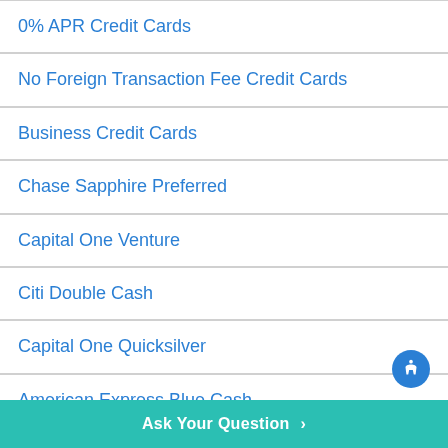0% APR Credit Cards
No Foreign Transaction Fee Credit Cards
Business Credit Cards
Chase Sapphire Preferred
Capital One Venture
Citi Double Cash
Capital One Quicksilver
American Express Blue Cash
Credit Score Range
WalletHub Answers is a free service that helps consumers access financial information. Information on WalletHub Answers is provided "as is" and should not be considered financial, legal or investment
Ask Your Question >